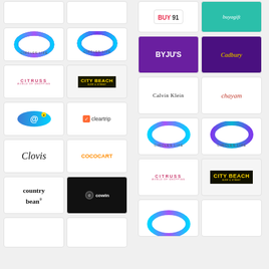[Figure (logo): Grid of brand logos on left and right columns. Left column (top to bottom): partial logos at top, Circles.life (two variants), Citruss, City Beach, email/at symbol logo, Cleartrip, Clovis, CocoCart, Country Bean, Cowin, partial at bottom. Right column: BUY91, Buyagift, BYJU'S, Cadbury, Calvin Klein, Chayam, Circles.life (two variants), Citruss, City Beach, partial Circles.life at bottom.]